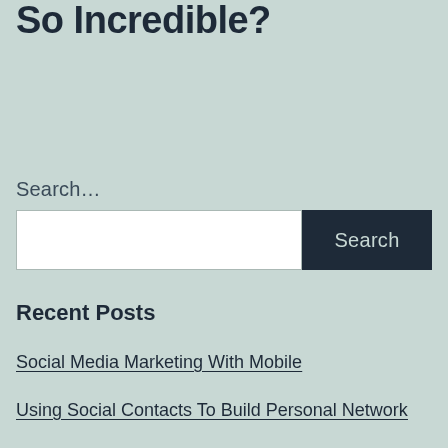So Incredible?
Search…
[Figure (other): Search input box with white text field on the left and dark navy Search button on the right]
Recent Posts
Social Media Marketing With Mobile
Using Social Contacts To Build Personal Network